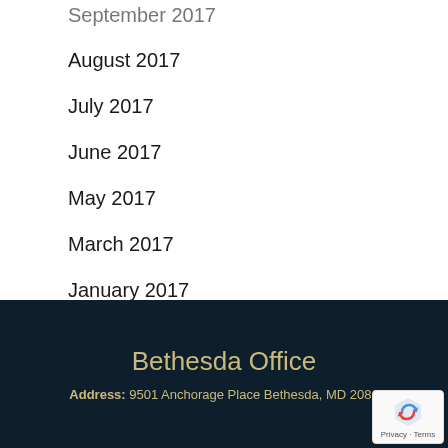September 2017
August 2017
July 2017
June 2017
May 2017
March 2017
January 2017
December 2016
November 2016
Bethesda Office
Address: 9501 Anchorage Place Bethesda, MD 2081...